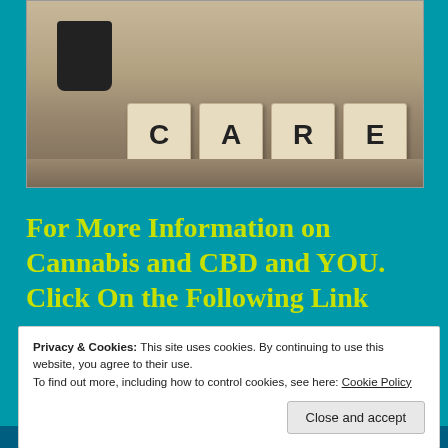[Figure (photo): Photo of wooden letter blocks spelling CARE on a wooden surface, with a black cup/container in the background left]
For More Information on Cannabis and CBD and YOU. Click On the Following Link
Privacy & Cookies: This site uses cookies. By continuing to use this website, you agree to their use. To find out more, including how to control cookies, see here: Cookie Policy
Close and accept